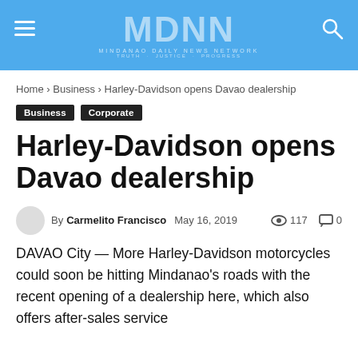MDNN — MINDANAO DAILY NEWS NETWORK · TRUTH · JUSTICE · PROGRESS
Home › Business › Harley-Davidson opens Davao dealership
Business  Corporate
Harley-Davidson opens Davao dealership
By Carmelito Francisco  May 16, 2019   117   0
DAVAO City — More Harley-Davidson motorcycles could soon be hitting Mindanao's roads with the recent opening of a dealership here, which also offers after-sales service